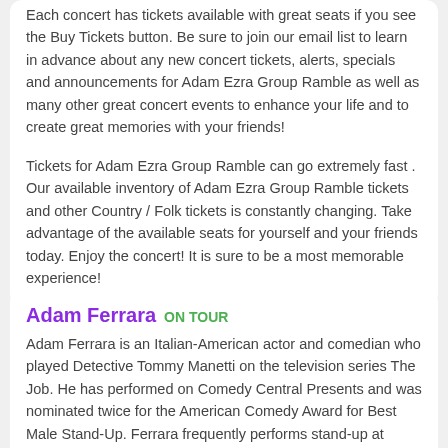Each concert has tickets available with great seats if you see the Buy Tickets button. Be sure to join our email list to learn in advance about any new concert tickets, alerts, specials and announcements for Adam Ezra Group Ramble as well as many other great concert events to enhance your life and to create great memories with your friends!
Tickets for Adam Ezra Group Ramble can go extremely fast . Our available inventory of Adam Ezra Group Ramble tickets and other Country / Folk tickets is constantly changing. Take advantage of the available seats for yourself and your friends today. Enjoy the concert! It is sure to be a most memorable experience!
Adam Ferrara ON TOUR
Adam Ferrara is an Italian-American actor and comedian who played Detective Tommy Manetti on the television series The Job. He has performed on Comedy Central Presents and was nominated twice for the American Comedy Award for Best Male Stand-Up. Ferrara frequently performs stand-up at Caroline's and the Comedy Cellar,